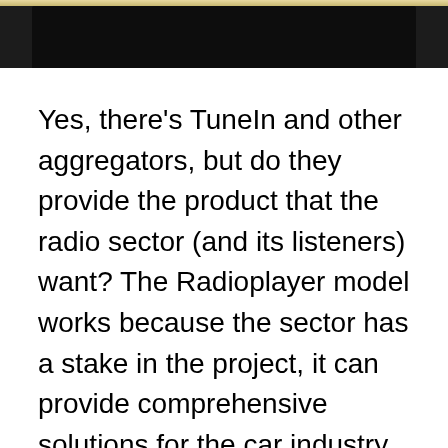[Figure (photo): Photo strip at top of page showing a dark device or screen against a light background]
Yes, there's TuneIn and other aggregators, but do they provide the product that the radio sector (and its listeners) want? The Radioplayer model works because the sector has a stake in the project, it can provide comprehensive solutions for the car industry, but also importantly because there are now teams to talk to the Fords and Hyundais of the world.
The BMW announcement alongside an earlier agreement with VW Group means Radioplayer tech is likely to be in 1/3rd of cars that are shipped in Europe. I'm sure there will be more to come, 10 firms are responsible for nearly all cars produced.